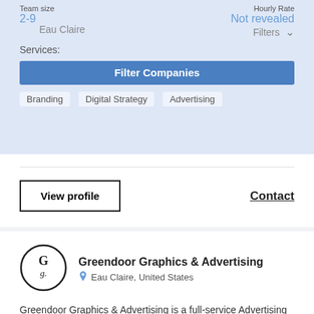Team size: 2-9 | Eau Claire | Hourly Rate: Not revealed | Filters
Services: Branding | Digital Strategy | Advertising
Filter Companies
View profile
Contact
Greendoor Graphics & Advertising
Eau Claire, United States
Greendoor Graphics & Advertising is a full-service Advertising & Design Studio. Greendoor Graphics & Advertising offers services such as A...